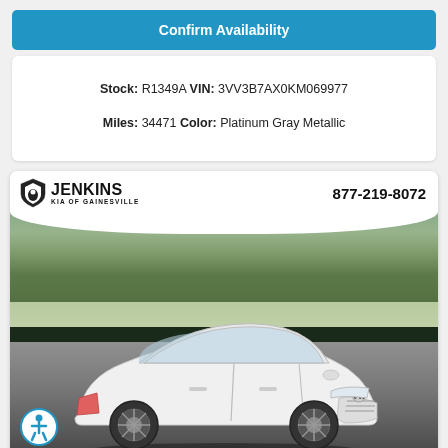Confirm Availability
Stock: R1349A VIN: 3VV3B7AX0KM069977 Miles: 34471 Color: Platinum Gray Metallic
[Figure (photo): Jenkins Kia of Gainesville dealer advertisement showing a white Volkswagen Jetta sedan in a parking lot. Header shows Jenkins Kia of Gainesville logo and phone number 877-219-8072. Footer shows www.JenkinsKiaOfGainesville.com]